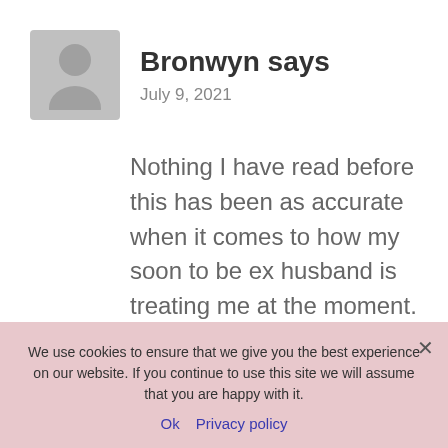[Figure (illustration): Grey avatar/placeholder person icon in a square with rounded corners]
Bronwyn says
July 9, 2021
Nothing I have read before this has been as accurate when it comes to how my soon to be ex husband is treating me at the moment.
The love bombing...
We use cookies to ensure that we give you the best experience on our website. If you continue to use this site we will assume that you are happy with it.
Ok   Privacy policy